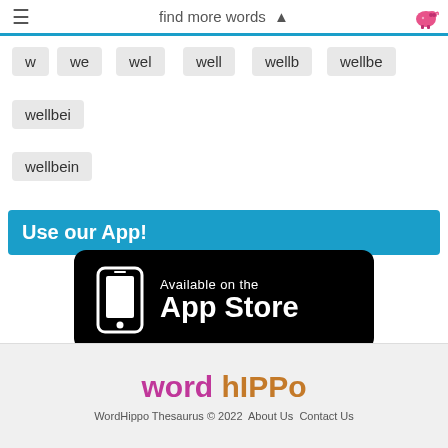find more words
w
we
wel
well
wellb
wellbe
wellbei
wellbein
Use our App!
[Figure (screenshot): Available on the App Store button — black rounded rectangle with white phone icon and text 'Available on the App Store']
word hIPPo
WordHippo Thesaurus © 2022  About Us  Contact Us